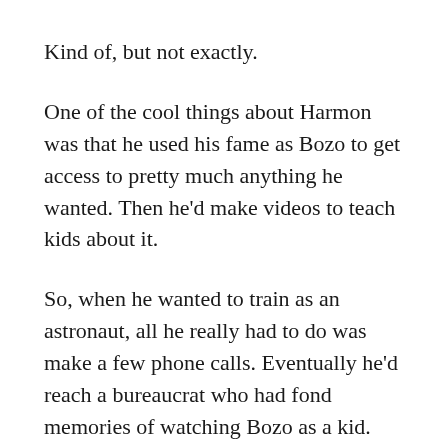Kind of, but not exactly.
One of the cool things about Harmon was that he used his fame as Bozo to get access to pretty much anything he wanted. Then he'd make videos to teach kids about it.
So, when he wanted to train as an astronaut, all he really had to do was make a few phone calls. Eventually he'd reach a bureaucrat who had fond memories of watching Bozo as a kid. This is how Bozo got in with the space program.
While Bozo never did get to go into space, he was able to enjoy — if that's the right word — the